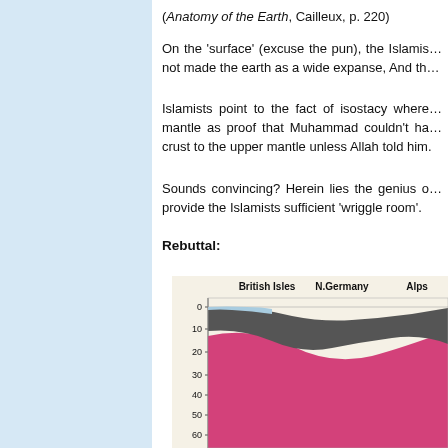(Anatomy of the Earth, Cailleux, p. 220)
On the 'surface' (excuse the pun), the Islamists claim seems plausible: Have We not made the earth as a wide expanse, And the...
Islamists point to the fact of isostacy where the crust floats on the mantle as proof that Muhammad couldn't have known about the crust to the upper mantle unless Allah told him.
Sounds convincing? Herein lies the genius of vague statements that provide the Islamists sufficient 'wriggle room'.
Rebuttal:
[Figure (continuous-plot): Cross-section diagram showing geological layers beneath British Isles, N.Germany, and Alps. Y-axis shows depth (0 to 60+ km). Light blue layer at surface, dark grey layer (crust/upper layer), deep pink/magenta layer (mantle). Column headers: British Isles, N.Germany, Alps.]